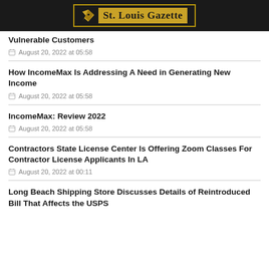St. Louis Gazette
Vulnerable Customers
August 20, 2022 at 05:58
How IncomeMax Is Addressing A Need in Generating New Income
August 20, 2022 at 05:58
IncomeMax: Review 2022
August 20, 2022 at 05:58
Contractors State License Center Is Offering Zoom Classes For Contractor License Applicants In LA
August 20, 2022 at 00:11
Long Beach Shipping Store Discusses Details of Reintroduced Bill That Affects the USPS